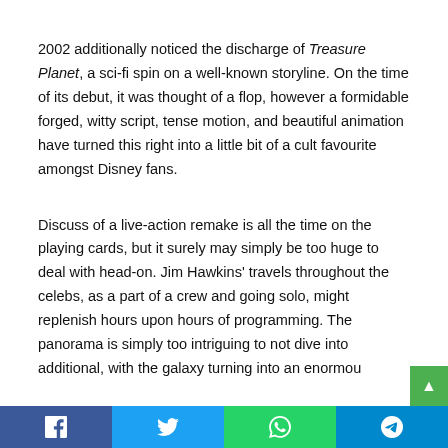2002 additionally noticed the discharge of Treasure Planet, a sci-fi spin on a well-known storyline. On the time of its debut, it was thought of a flop, however a formidable forged, witty script, tense motion, and beautiful animation have turned this right into a little bit of a cult favourite amongst Disney fans.
Discuss of a live-action remake is all the time on the playing cards, but it surely may simply be too huge to deal with head-on. Jim Hawkins' travels throughout the celebs, as a part of a crew and going solo, might replenish hours upon hours of programming. The panorama is simply too intriguing to not dive into additional, with the galaxy turning into an enormou